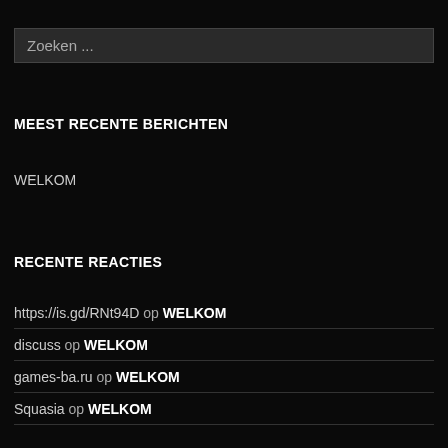Zoeken ...
MEEST RECENTE BERICHTEN
WELKOM
RECENTE REACTIES
https://is.gd/RNt94D op WELKOM
discuss op WELKOM
games-ba.ru op WELKOM
Squasia op WELKOM